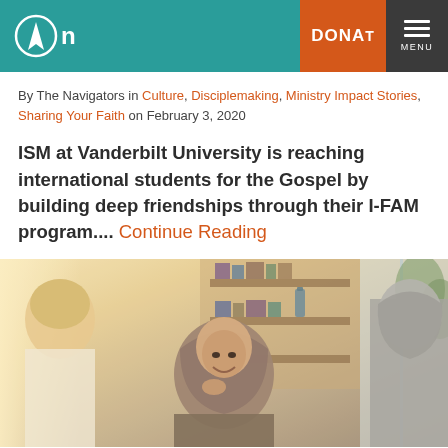Navigators website header with logo, DONATE button, and MENU
By The Navigators in Culture, Disciplemaking, Ministry Impact Stories, Sharing Your Faith on February 3, 2020
ISM at Vanderbilt University is reaching international students for the Gospel by building deep friendships through their I-FAM program.... Continue Reading
[Figure (photo): Photo of women in conversation, including a woman wearing a hijab smiling, with a bookshelf and window in the background]